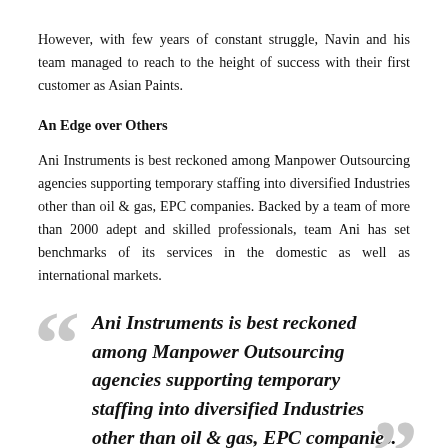However, with few years of constant struggle, Navin and his team managed to reach to the height of success with their first customer as Asian Paints.
An Edge over Others
Ani Instruments is best reckoned among Manpower Outsourcing agencies supporting temporary staffing into diversified Industries other than oil & gas, EPC companies. Backed by a team of more than 2000 adept and skilled professionals, team Ani has set benchmarks of its services in the domestic as well as international markets.
Ani Instruments is best reckoned among Manpower Outsourcing agencies supporting temporary staffing into diversified Industries other than oil & gas, EPC companies.